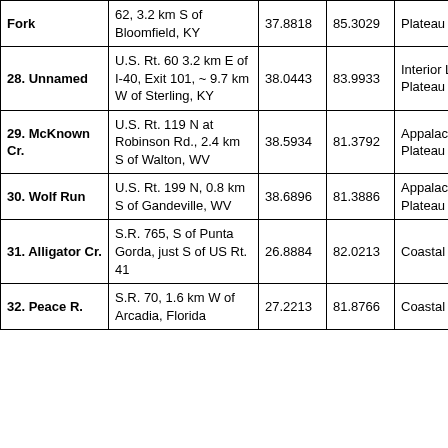| Site | Location | Lat. | Long. | Physiographic Region |
| --- | --- | --- | --- | --- |
| Fork | 62, 3.2 km S of Bloomfield, KY | 37.8818 | 85.3029 | Plateau |
| 28. Unnamed | U.S. Rt. 60 3.2 km E of I-40, Exit 101, ~ 9.7 km W of Sterling, KY | 38.0443 | 83.9933 | Interior Low Plateau |
| 29. McKnown Cr. | U.S. Rt. 119 N at Robinson Rd., 2.4 km S of Walton, WV | 38.5934 | 81.3792 | Appalachian Plateau |
| 30. Wolf Run | U.S. Rt. 199 N, 0.8 km S of Gandeville, WV | 38.6896 | 81.3886 | Appalachian Plateau |
| 31. Alligator Cr. | S.R. 765, S of Punta Gorda, just S of US Rt. 41 | 26.8884 | 82.0213 | Coastal Plain |
| 32. Peace R. | S.R. 70, 1.6 km W of Arcadia, Florida | 27.2213 | 81.8766 | Coastal Plain |